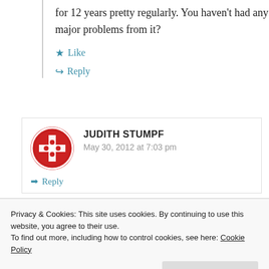for 12 years pretty regularly. You haven't had any major problems from it?
★ Like
↪ Reply
JUDITH STUMPF
May 30, 2012 at 7:03 pm
→ Reply
Privacy & Cookies: This site uses cookies. By continuing to use this website, you agree to their use. To find out more, including how to control cookies, see here: Cookie Policy
Close and accept